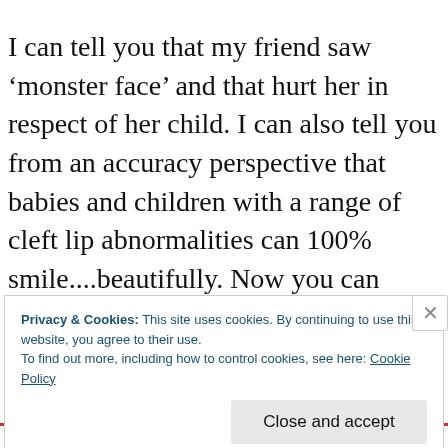I can tell you that my friend saw ‘monster face’ and that hurt her in respect of her child. I can also tell you from an accuracy perspective that babies and children with a range of cleft lip abnormalities can 100% smile....beautifully. Now you can argue that this was conveying a reaction in the story, I
Privacy & Cookies: This site uses cookies. By continuing to use this website, you agree to their use.
To find out more, including how to control cookies, see here: Cookie Policy
Close and accept